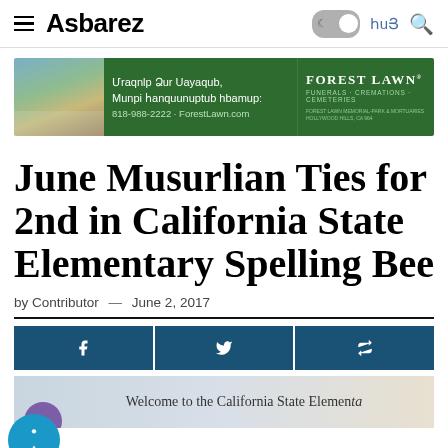Asbarez
[Figure (infographic): Forest Lawn advertisement banner with Armenian text: Մրաբելը Ձեր Սայազան, Մoph հanquunuuplu նhամup: 818-988-2222 · ForestLawn.com, Forest Lawn Funerals Cremations Cemeteries]
June Musurlian Ties for 2nd in California State Elementary Spelling Bee
by Contributor — June 2, 2017
[Figure (infographic): Social sharing buttons: Facebook, Twitter, Share. Accessibility button (blue circle with person icon). Bottom strip showing 'Welcome to the California State Elemen...']